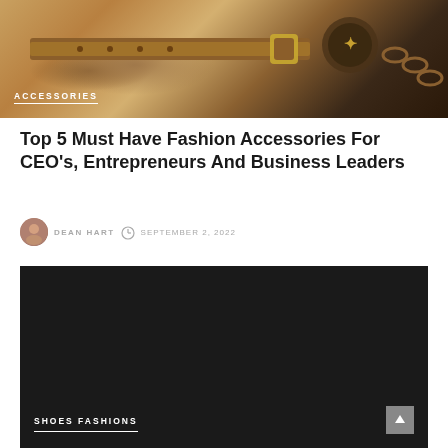[Figure (photo): Banner image showing fashion accessories including a brown leather belt and a tortoiseshell chain bracelet/accessory on a white background with 'ACCESSORIES' label overlay]
Top 5 Must Have Fashion Accessories For CEO's, Entrepreneurs And Business Leaders
DEAN HART  SEPTEMBER 2, 2022
[Figure (photo): Dark/black image with 'SHOES FASHIONS' label overlay at the bottom, appearing to be a fashion article image]